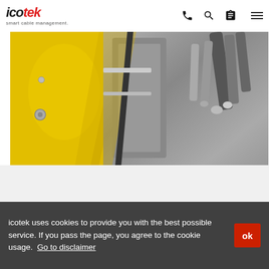icotek smart cable management.
[Figure (photo): Close-up photo of yellow industrial machine panel with cables and metallic components in background]
Other industries
icotek uses cookies to provide you with the best possible service. If you pass the page, you agree to the cookie usage. Go to disclaimer